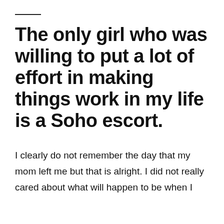The only girl who was willing to put a lot of effort in making things work in my life is a Soho escort.
I clearly do not remember the day that my mom left me but that is alright. I did not really cared about what will happen to be when I